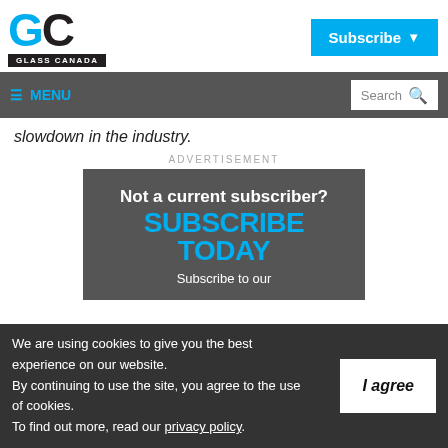[Figure (logo): Glass Canada logo with blue G and black C letters, with GLASS CANADA text bar below]
[Figure (screenshot): Subscribe button in cyan/blue with dropdown arrow]
≡ MENU    Search 🔍
slowdown in the industry.
ADVERTISEMENT
[Figure (infographic): Dark grey ad banner with text: Not a current subscriber? SUBSCRIBE TODAY Subscribe to our]
We are using cookies to give you the best experience on our website.
By continuing to use the site, you agree to the use of cookies.
To find out more, read our privacy policy.